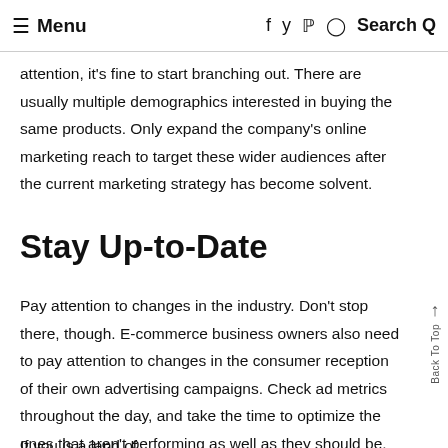≡ Menu   f  y  p  ○  Search Q
attention, it's fine to start branching out. There are usually multiple demographics interested in buying the same products. Only expand the company's online marketing reach to target these wider audiences after the current marketing strategy has become solvent.
Stay Up-to-Date
Pay attention to changes in the industry. Don't stop there, though. E-commerce business owners also need to pay attention to changes in the consumer reception of their own advertising campaigns. Check ad metrics throughout the day, and take the time to optimize the ones that aren't performing as well as they should be.
If you is a land of…